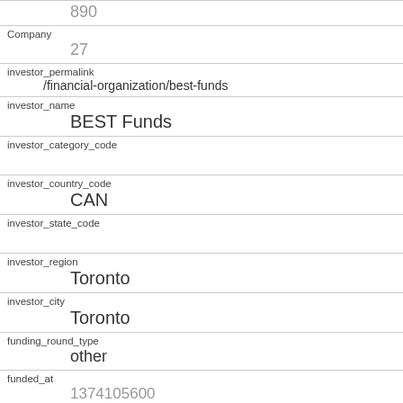890
Company
27
investor_permalink
/financial-organization/best-funds
investor_name
BEST Funds
investor_category_code
investor_country_code
CAN
investor_state_code
investor_region
Toronto
investor_city
Toronto
funding_round_type
other
funded_at
1374105600